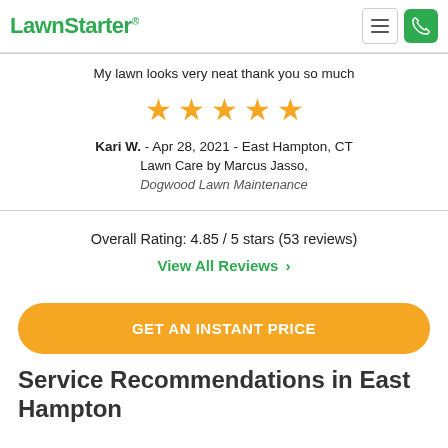LawnStarter®
My lawn looks very neat thank you so much
[Figure (other): Five gold star rating icons]
Kari W. - Apr 28, 2021 - East Hampton, CT
Lawn Care by Marcus Jasso,
Dogwood Lawn Maintenance
Overall Rating: 4.85 / 5 stars (53 reviews)
View All Reviews ›
GET AN INSTANT PRICE
Service Recommendations in East Hampton